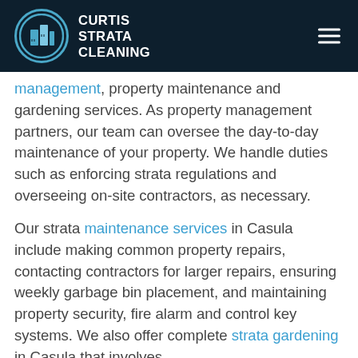CURTIS STRATA CLEANING
management, property maintenance and gardening services. As property management partners, our team can oversee the day-to-day maintenance of your property. We handle duties such as enforcing strata regulations and overseeing on-site contractors, as necessary.
Our strata maintenance services in Casula include making common property repairs, contacting contractors for larger repairs, ensuring weekly garbage bin placement, and maintaining property security, fire alarm and control key systems. We also offer complete strata gardening in Casula that involves